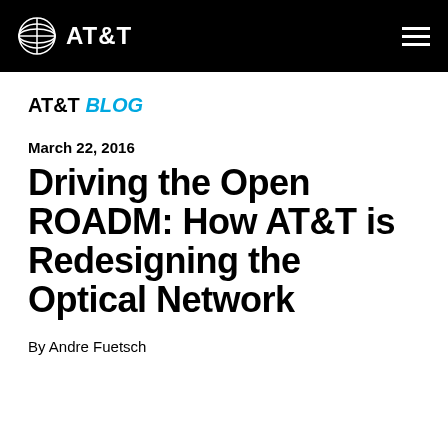AT&T
AT&T BLOG
March 22, 2016
Driving the Open ROADM: How AT&T is Redesigning the Optical Network
By Andre Fuetsch